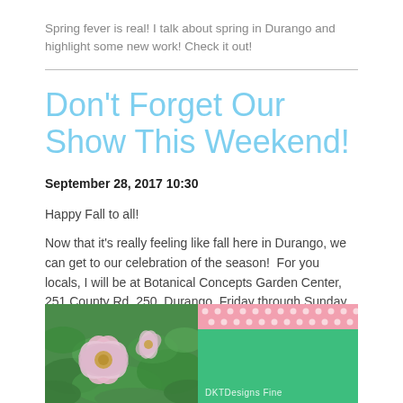Spring fever is real! I talk about spring in Durango and highlight some new work! Check it out!
Don't Forget Our Show This Weekend!
September 28, 2017 10:30
Happy Fall to all!
Now that it's really feeling like fall here in Durango, we can get to our celebration of the season!  For you locals, I will be at Botanical Concepts Garden Center, 251 County Rd. 250, Durango, Friday through Sunday, from 10:00am to 5:00pm.
[Figure (photo): Two-panel image: left side shows pink flowers with green leaves (garden photo), right side shows a pink polka-dot stripe over a green rectangle with text 'DKTDesigns Fine']